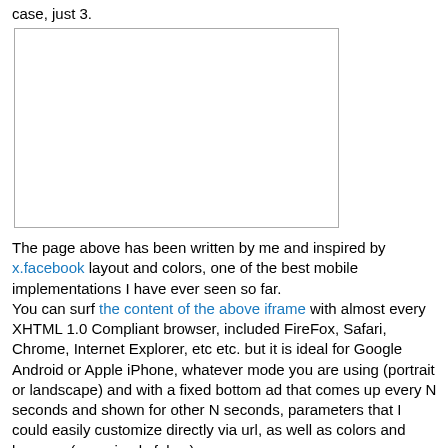case, just 3.
[Figure (other): A bordered white rectangular iframe/box, empty content area]
The page above has been written by me and inspired by x.facebook layout and colors, one of the best mobile implementations I have ever seen so far.
You can surf the content of the above iframe with almost every XHTML 1.0 Compliant browser, included FireFox, Safari, Chrome, Internet Explorer, etc etc. but it is ideal for Google Android or Apple iPhone, whatever mode you are using (portrait or landscape) and with a fixed bottom ad that comes up every N seconds and shown for other N seconds, parameters that I could easily customize directly via url, as well as colors and banners (now simply fakes).